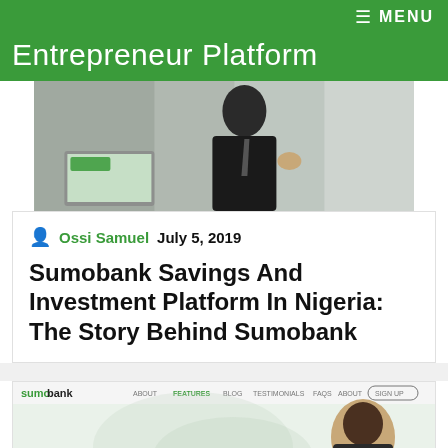≡ MENU
Entrepreneur Platform
[Figure (photo): A person in a business suit gesturing, with a laptop/tablet on a desk in the background]
Ossi Samuel  July 5, 2019
Sumobank Savings And Investment Platform In Nigeria: The Story Behind Sumobank
[Figure (screenshot): Sumobank website screenshot showing logo, navigation bar, a person's headshot on the right, and text beginning 'ave, Invest &' at bottom left]